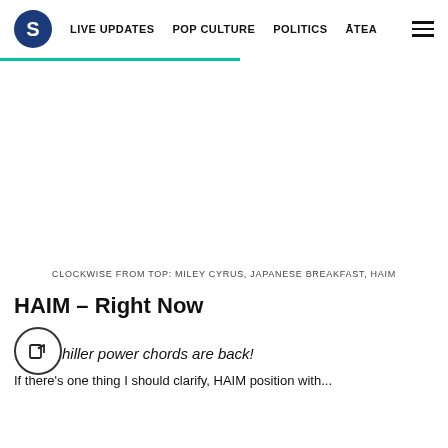S  LIVE UPDATES  POP CULTURE  POLITICS  ĀTEA
[Figure (other): Large white image area (advertisement or photo placeholder)]
CLOCKWISE FROM TOP: MILEY CYRUS, JAPANESE BREAKFAST, HAIM
HAIM – Right Now
Thriller power chords are back!
If there's one thing I should clarify, HAIM position with...